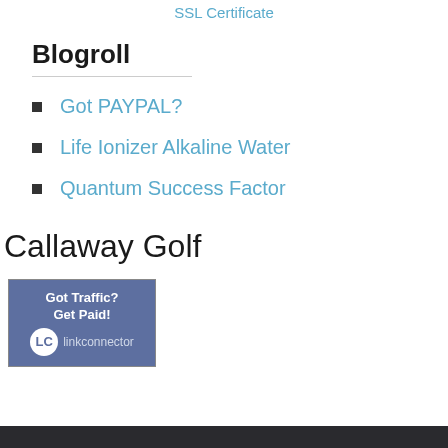SSL Certificate
Blogroll
Got PAYPAL?
Life Ionizer Alkaline Water
Quantum Success Factor
Callaway Golf
[Figure (illustration): LinkConnector banner ad: 'Got Traffic? Get Paid! linkconnector' with blue background and logo]